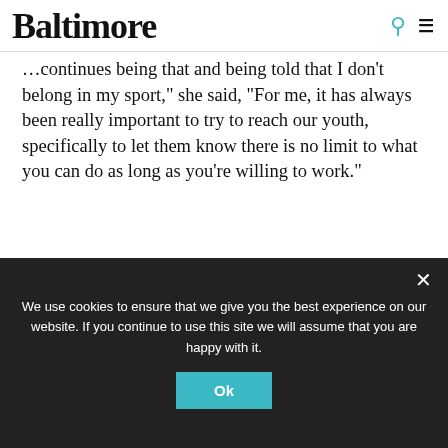Baltimore
...continues being that and being told that I don't belong in my sport," she said, "For me, it has always been really important to try to reach our youth, specifically to let them know there is no limit to what you can do as long as you're willing to work."
RAVENS WATCH | THE BIRDS NEST | THE CHATTER | SPORTS | ADAM JONES
BALTIMORE ORIOLES | BALTIMORE RAVENS | IBTIHAJ MUHAMMAD | JOE FLACCO
MORGAN STATE UNIVERSITY | OLYMPICS | RYAN MALLETT | UNDER ARMOUR
We use cookies to ensure that we give you the best experience on our website. If you continue to use this site we will assume that you are happy with it.